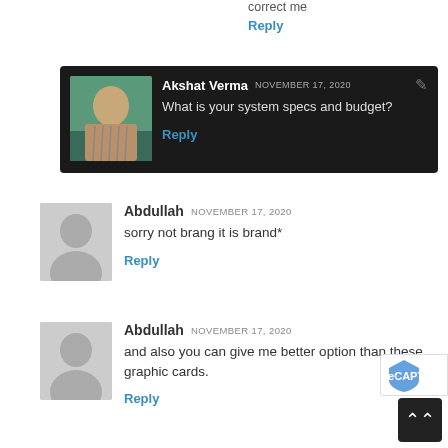correct me
Reply
Akshat Verma NOVEMBER 17, 2020 What is your system specs and budget? Reply
Abdullah NOVEMBER 17, 2020 sorry not brang it is brand* Reply
Abdullah NOVEMBER 17, 2020 and also you can give me better option than these graphic cards. Reply